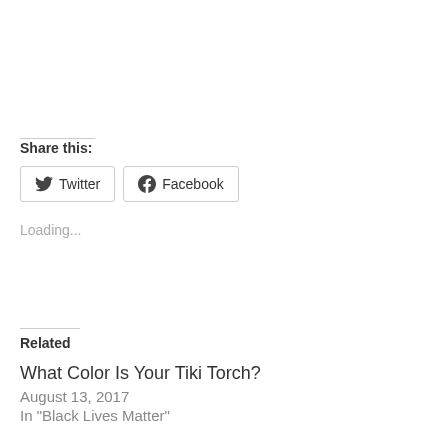Share this:
Twitter  Facebook
Loading...
Related
What Color Is Your Tiki Torch?
August 13, 2017
In "Black Lives Matter"